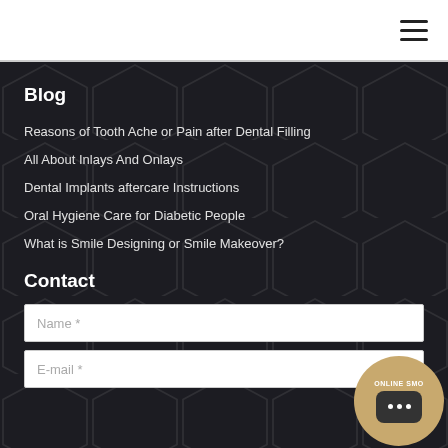Blog
Reasons of Tooth Ache or Pain after Dental Filling
All About Inlays And Onlays
Dental Implants aftercare Instructions
Oral Hygiene Care for Diabetic People
What is Smile Designing or Smile Makeover?
Contact
Name *
E-mail *